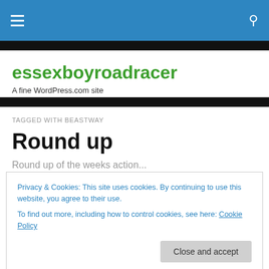essexboyroadracer — navigation bar with hamburger menu and search icon
essexboyroadracer
A fine WordPress.com site
TAGGED WITH BEASTWAY
Round up
Round up of the weeks action...
Privacy & Cookies: This site uses cookies. By continuing to use this website, you agree to their use.
To find out more, including how to control cookies, see here: Cookie Policy
race with no attacks and only a couple of riders being